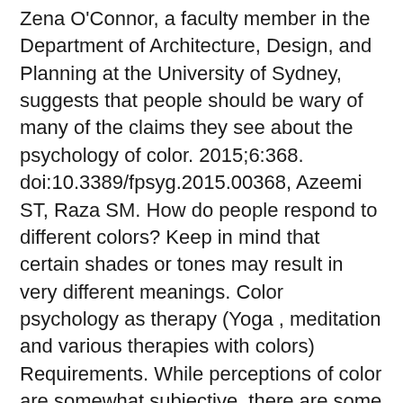Zena O'Connor, a faculty member in the Department of Architecture, Design, and Planning at the University of Sydney, suggests that people should be wary of many of the claims they see about the psychology of color. 2015;6:368. doi:10.3389/fpsyg.2015.00368, Azeemi ST, Raza SM. How do people respond to different colors? Keep in mind that certain shades or tones may result in very different meanings. Color psychology as therapy (Yoga , meditation and various therapies with colors) Requirements. While perceptions of color are somewhat subjective, there are some color effects that have universal meaning. be drawn to colors that are not primary, ie deep teal, aqua, burnt red. 0:32. These cool colors are typically considered restful. Very inspiring… Bonus: Click to download the 64pg PDF + checklist so that you can reference it later. Cool colors – such as green, blue and purple – often spark feelings of calmness as well as sadness. 1988;54(1):74-85. The psychology of color as it relates to persuasion is one of the